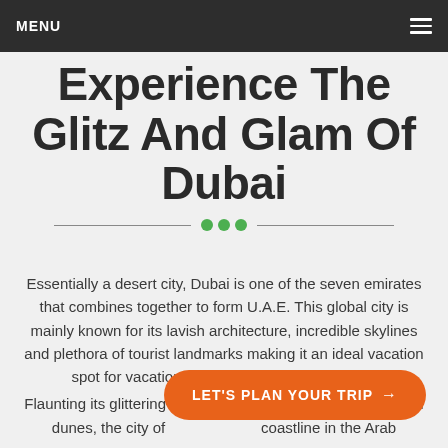MENU
Experience The Glitz And Glam Of Dubai
Essentially a desert city, Dubai is one of the seven emirates that combines together to form U.A.E. This global city is mainly known for its lavish architecture, incredible skylines and plethora of tourist landmarks making it an ideal vacation spot for vacationers from all around the globe.
Flaunting its glittering infrastructure amid the extensive sand dunes, the city of ... coastline in the Arab...
LET'S PLAN YOUR TRIP →